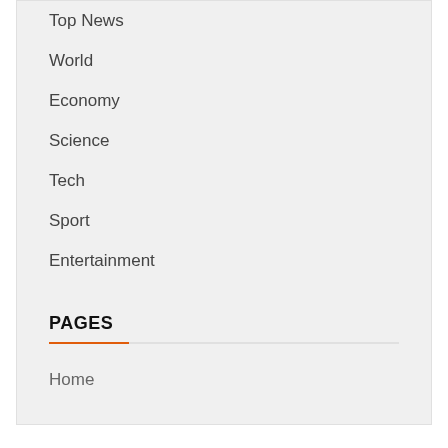Top News
World
Economy
Science
Tech
Sport
Entertainment
PAGES
Home
YOU MAY HAVE MISSED